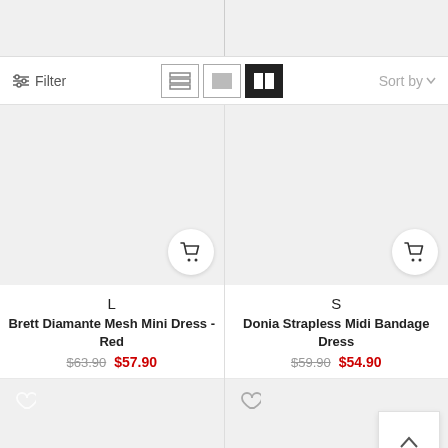[Figure (screenshot): Top gray banner split into two columns]
Filter
Sort by
[Figure (photo): Product image placeholder for Brett Diamante Mesh Mini Dress - Red, size L]
L
Brett Diamante Mesh Mini Dress - Red
$63.90  $57.90
[Figure (photo): Product image placeholder for Donia Strapless Midi Bandage Dress, size S]
S
Donia Strapless Midi Bandage Dress
$59.90  $54.90
[Figure (photo): Bottom product row placeholders for next two products]